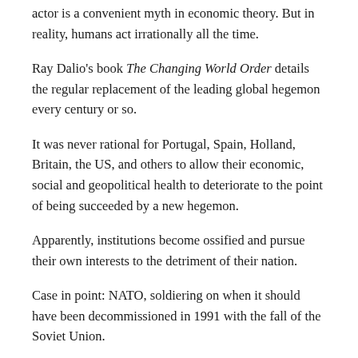actor is a convenient myth in economic theory. But in reality, humans act irrationally all the time.
Ray Dalio's book The Changing World Order details the regular replacement of the leading global hegemon every century or so.
It was never rational for Portugal, Spain, Holland, Britain, the US, and others to allow their economic, social and geopolitical health to deteriorate to the point of being succeeded by a new hegemon.
Apparently, institutions become ossified and pursue their own interests to the detriment of their nation.
Case in point: NATO, soldiering on when it should have been decommissioned in 1991 with the fall of the Soviet Union.
Want to stop China from eating America's lunch? Shut down NATO tomorrow morning.
NATO is Public Enemy No. 1 as US living standards inexorably